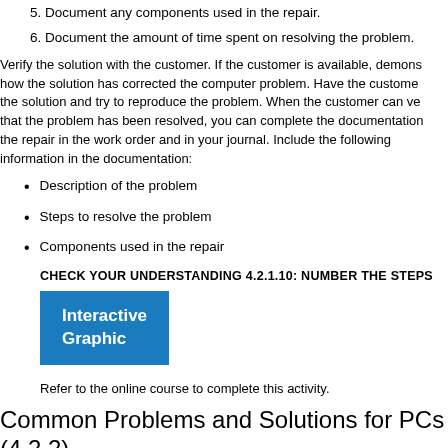5. Document any components used in the repair.
6. Document the amount of time spent on resolving the problem.
Verify the solution with the customer. If the customer is available, demonstrate how the solution has corrected the computer problem. Have the customer test the solution and try to reproduce the problem. When the customer can verify that the problem has been resolved, you can complete the documentation of the repair in the work order and in your journal. Include the following information in the documentation:
Description of the problem
Steps to resolve the problem
Components used in the repair
CHECK YOUR UNDERSTANDING 4.2.1.10: NUMBER THE STEPS
[Figure (other): Interactive Graphic button - blue rectangle with white bold text reading 'Interactive Graphic']
Refer to the online course to complete this activity.
Common Problems and Solutions for PCs (4.2.2)
As a technician, you will run into technical problems in your day-to-day ro